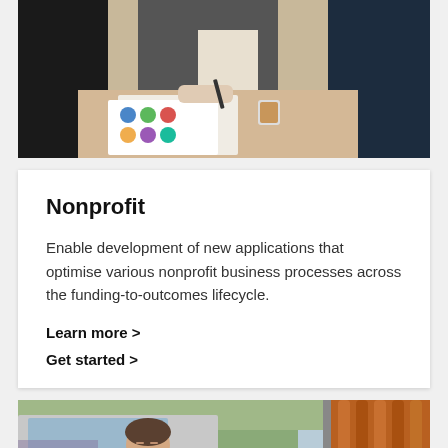[Figure (photo): People around a table working on design documents with colorful circular swatches]
Nonprofit
Enable development of new applications that optimise various nonprofit business processes across the funding-to-outcomes lifecycle.
Learn more >
Get started >
[Figure (photo): Man in denim shirt looking down, working, with orange ropes or cables visible on the right side]